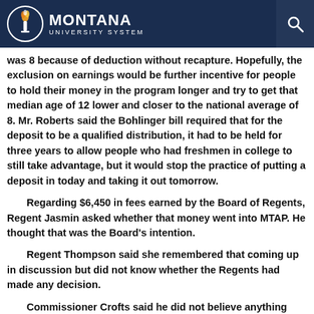MONTANA UNIVERSITY SYSTEM
was 8 because of deduction without recapture. Hopefully, the exclusion on earnings would be further incentive for people to hold their money in the program longer and try to get that median age of 12 lower and closer to the national average of 8. Mr. Roberts said the Bohlinger bill required that for the deposit to be a qualified distribution, it had to be held for three years to allow people who had freshmen in college to still take advantage, but it would stop the practice of putting a deposit in today and taking it out tomorrow.
Regarding $6,450 in fees earned by the Board of Regents, Regent Jasmin asked whether that money went into MTAP. He thought that was the Board's intention.
Regent Thompson said she remembered that coming up in discussion but did not know whether the Regents had made any decision.
Commissioner Crofts said he did not believe anything had yet been done with the...